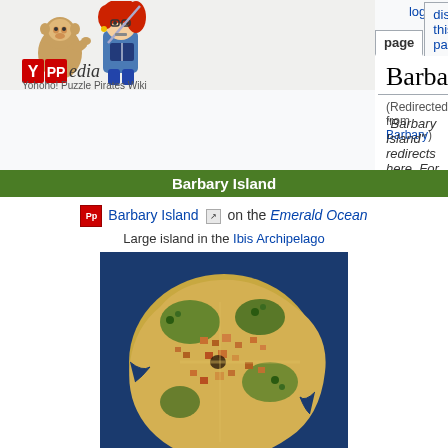log in
page | discuss this page | view source | hi
[Figure (logo): YPPedia logo with pirate girl and monkey characters, text reads 'YPPedia - Yohoho! Puzzle Pirates Wiki']
Barbary Island (Emerald)
(Redirected from Barbary)
"Barbary Island" redirects here. For other uses, see Barbary Island (disambiguation).
Barbary Island
Barbary Island on the Emerald Ocean
Large island in the Ibis Archipelago
[Figure (map): Top-down isometric map of Barbary Island showing a large island with buildings, vegetation, and sandy terrain surrounded by dark blue ocean water]